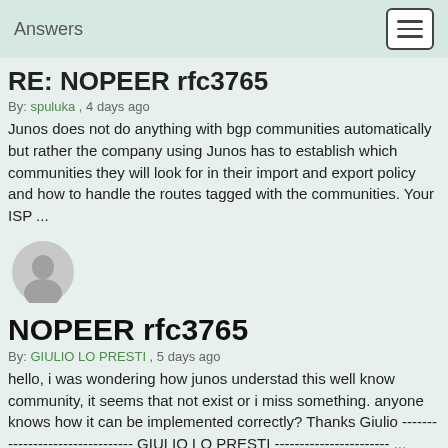Answers
RE: NOPEER rfc3765
By: spuluka , 4 days ago
Junos does not do anything with bgp communities automatically but rather the company using Junos has to establish which communities they will look for in their import and export policy and how to handle the routes tagged with the communities. Your ISP ...
[Figure (illustration): Grey silhouette avatar of a person]
NOPEER rfc3765
By: GIULIO LO PRESTI , 5 days ago
hello, i was wondering how junos understad this well know community, it seems that not exist or i miss something. anyone knows how it can be implemented correctly? Thanks Giulio -------------------------------- GIULIO LO PRESTI ----------------------- ...